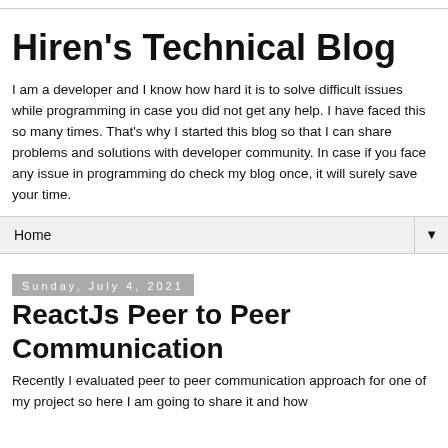Hiren's Technical Blog
I am a developer and I know how hard it is to solve difficult issues while programming in case you did not get any help. I have faced this so many times. That's why I started this blog so that I can share problems and solutions with developer community. In case if you face any issue in programming do check my blog once, it will surely save your time.
Home ▼
Sunday, July 4, 2021
ReactJs Peer to Peer Communication
Recently I evaluated peer to peer communication approach for one of my project so here I am going to share it and how